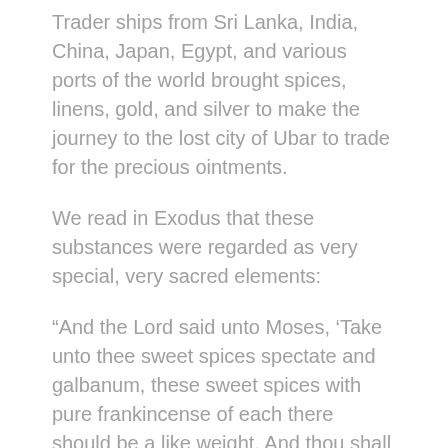Trader ships from Sri Lanka, India, China, Japan, Egypt, and various ports of the world brought spices, linens, gold, and silver to make the journey to the lost city of Ubar to trade for the precious ointments.
We read in Exodus that these substances were regarded as very special, very sacred elements:
“And the Lord said unto Moses, ‘Take unto thee sweet spices spectate and galbanum, these sweet spices with pure frankincense of each there should be a like weight. And thou shall make it a perfume, a confection after the art of the apothecary, tempered together pure and holy. And thou shall beat some of it very small and put it before the testimony in the tabernacle of the